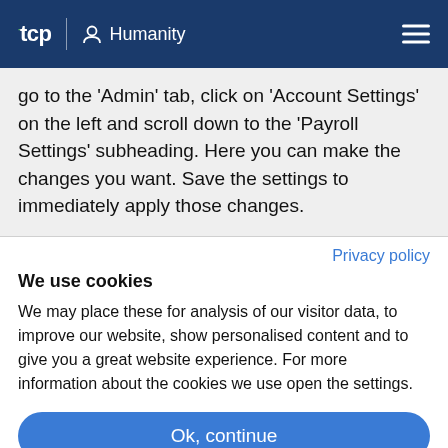tcp | Humanity
go to the ‘Admin’ tab, click on ‘Account Settings’ on the left and scroll down to the ‘Payroll Settings’ subheading. Here you can make the changes you want. Save the settings to immediately apply those changes.
Privacy policy
We use cookies
We may place these for analysis of our visitor data, to improve our website, show personalised content and to give you a great website experience. For more information about the cookies we use open the settings.
Ok, continue
Deny
No, adjust